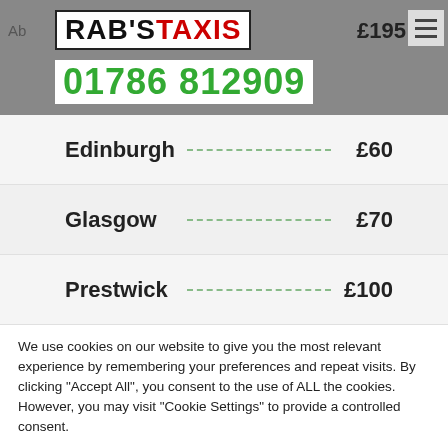RAB'S TAXIS 01786 812909
Edinburgh £60
Glasgow £70
Prestwick £100
We use cookies on our website to give you the most relevant experience by remembering your preferences and repeat visits. By clicking "Accept All", you consent to the use of ALL the cookies. However, you may visit "Cookie Settings" to provide a controlled consent.